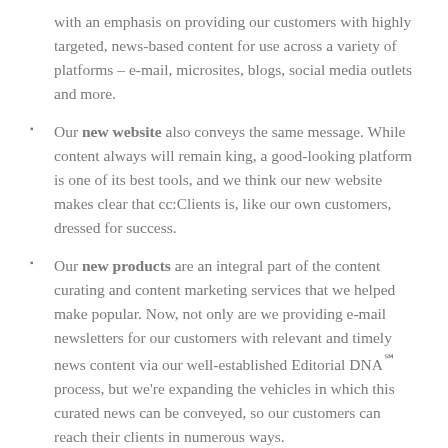with an emphasis on providing our customers with highly targeted, news-based content for use across a variety of platforms – e-mail, microsites, blogs, social media outlets and more.
Our new website also conveys the same message. While content always will remain king, a good-looking platform is one of its best tools, and we think our new website makes clear that cc:Clients is, like our own customers, dressed for success.
Our new products are an integral part of the content curating and content marketing services that we helped make popular. Now, not only are we providing e-mail newsletters for our customers with relevant and timely news content via our well-established Editorial DNA℠ process, but we're expanding the vehicles in which this curated news can be conveyed, so our customers can reach their clients in numerous ways.